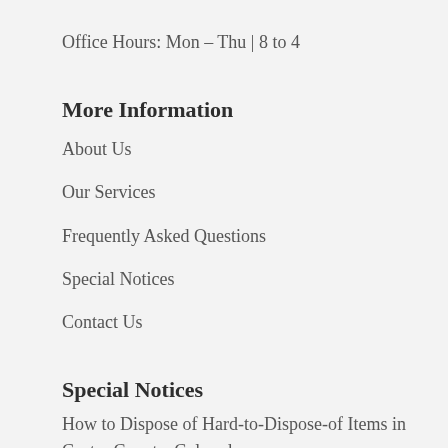Office Hours: Mon – Thu | 8 to 4
More Information
About Us
Our Services
Frequently Asked Questions
Special Notices
Contact Us
Special Notices
How to Dispose of Hard-to-Dispose-of Items in Custer County, Colorado